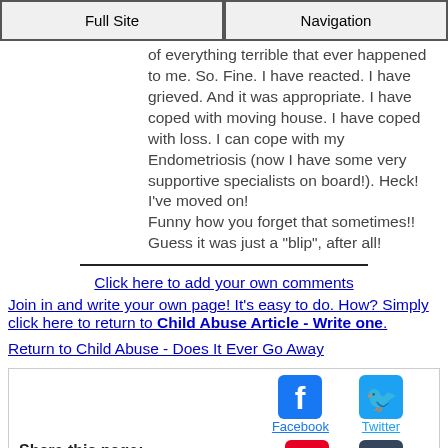Full Site | Navigation
of everything terrible that ever happened to me. So. Fine. I have reacted. I have grieved. And it was appropriate. I have coped with moving house. I have coped with loss. I can cope with my Endometriosis (now I have some very supportive specialists on board!). Heck! I've moved on!
Funny how you forget that sometimes!!
Guess it was just a "blip", after all!
Click here to add your own comments
Join in and write your own page! It's easy to do. How? Simply click here to return to Child Abuse Article - Write one.
Return to Child Abuse - Does It Ever Go Away
Share this page:
[Figure (infographic): Facebook and Twitter social share icons with labels, and Pinterest and Tumblr icons below]